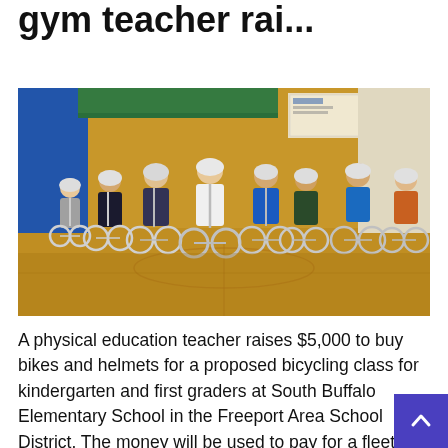gym teacher rai...
[Figure (photo): Children wearing helmets riding balance bikes on a gymnasium floor. There are approximately 8-9 young children in the scene, riding small balance bikes across a shiny hardwood gym floor. The gym has blue walls on the left, a green board on the back wall, and white/beige block walls.]
A physical education teacher raises $5,000 to buy bikes and helmets for a proposed bicycling class for kindergarten and first graders at South Buffalo Elementary School in the Freeport Area School District. The money will be used to pay for a fleet of 24 S... balance bikes, helmets, pedal conversion kits, a... 20 bike [...]